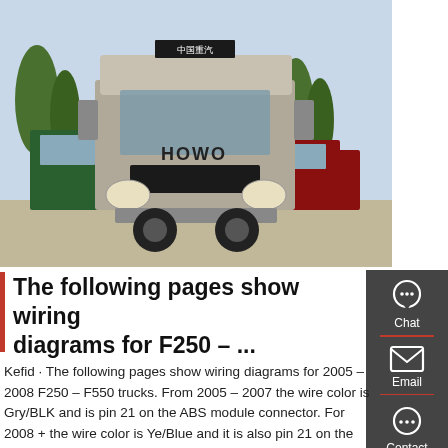[Figure (photo): Front view of a HOWO brand heavy truck (Chinese tractor truck) parked in a lot, with green and red trucks visible in the background and trees on either side]
The following pages show wiring diagrams for F250 – ...
Kefid · The following pages show wiring diagrams for 2005 – 2008 F250 – F550 trucks. From 2005 – 2007 the wire color is Gry/BLK and is pin 21 on the ABS module connector. For 2008 + the wire color is Ye/Blue and it is also pin 21 on the ABS module connector. On